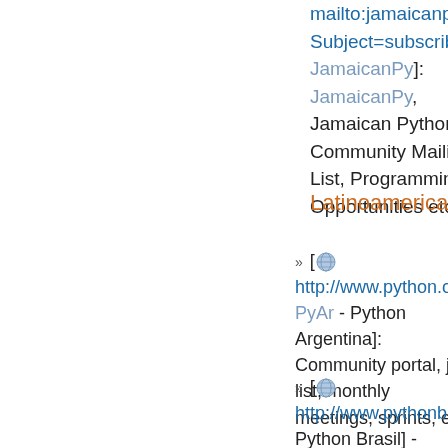mailto:jamaicanpy@20pc... Subject=subscribe JamaicanPy]: JamaicanPy, Jamaican Python Community Mailing List, Programming Opportunities etc....
Latinoamerica
[ http://www.python.org/ar PyAr - Python Argentina]: Community portal, job list, monthly meetings, sprints, etc.
[ http://www.pythonbrasil.c... Python Brasil] - Greatest Python